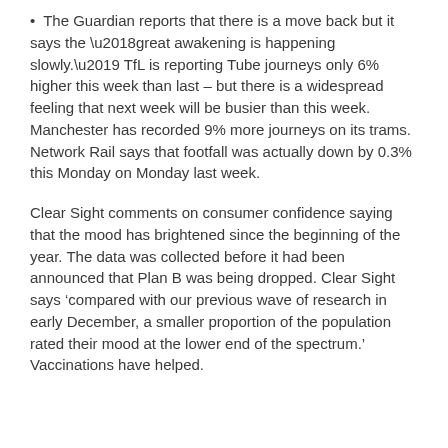• The Guardian reports that there is a move back but it says the ‘great awakening is happening slowly.’ TfL is reporting Tube journeys only 6% higher this week than last – but there is a widespread feeling that next week will be busier than this week. Manchester has recorded 9% more journeys on its trams. Network Rail says that footfall was actually down by 0.3% this Monday on Monday last week.
Clear Sight comments on consumer confidence saying that the mood has brightened since the beginning of the year. The data was collected before it had been announced that Plan B was being dropped. Clear Sight says ‘compared with our previous wave of research in early December, a smaller proportion of the population rated their mood at the lower end of the spectrum.’ Vaccinations have helped.